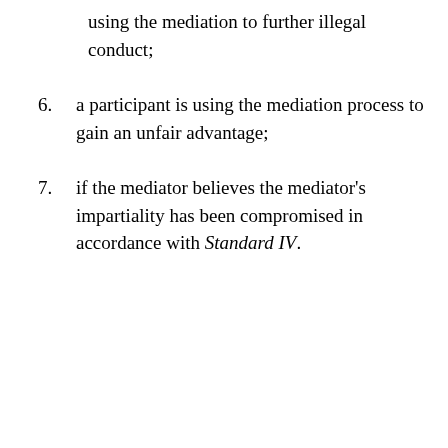using the mediation to further illegal conduct;
6. a participant is using the mediation process to gain an unfair advantage;
7. if the mediator believes the mediator’s impartiality has been compromised in accordance with Standard IV.